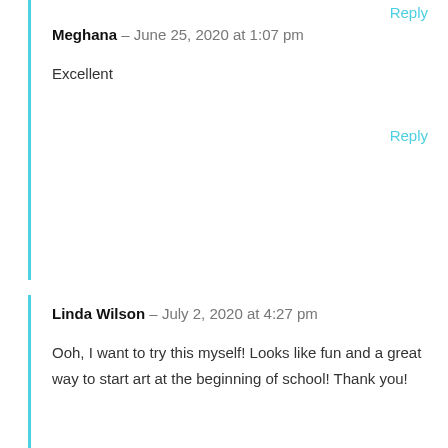Reply
Meghana – June 25, 2020 at 1:07 pm
Excellent
Reply
Linda Wilson – July 2, 2020 at 4:27 pm
Ooh, I want to try this myself! Looks like fun and a great way to start art at the beginning of school! Thank you!
Reply
Shilpa – July 30, 2020 at 6:26 pm
I loved this activity . Can we make a lesson out of it...